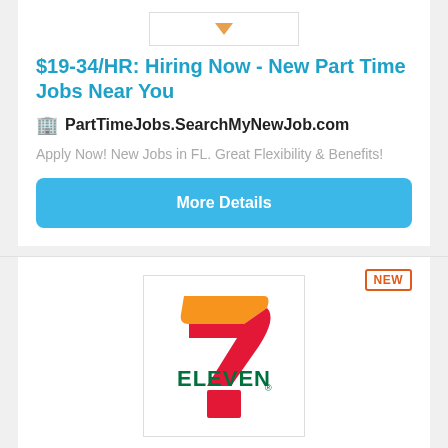$19-34/HR: Hiring Now - New Part Time Jobs Near You
PartTimeJobs.SearchMyNewJob.com
Apply Now! New Jobs in FL. Great Flexibility & Benefits!
More Details
[Figure (logo): 7-Eleven logo]
Store Employee